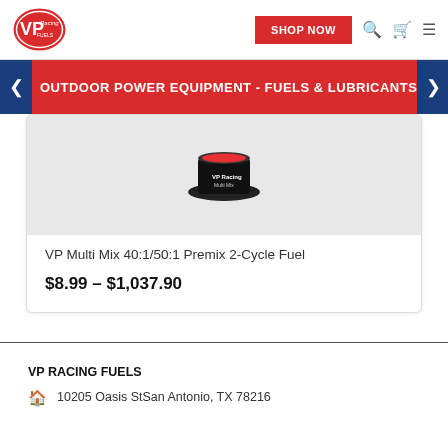[Figure (logo): VP Racing Fuels logo — red oval with white VP letters and racing script]
SHOP NOW
OUTDOOR POWER EQUIPMENT - FUELS & LUBRICANTS
VP Multi Mix 40:1/50:1 Premix 2-Cycle Fuel
$8.99 – $1,037.90
VP RACING FUELS
10205 Oasis StSan Antonio, TX 78216